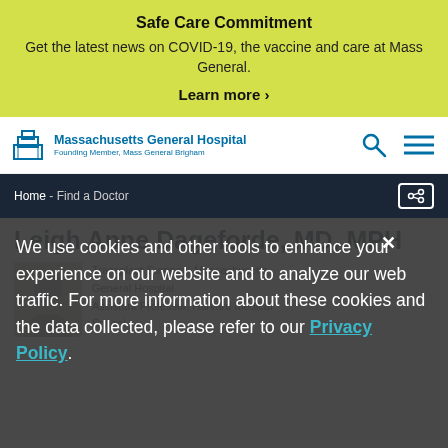Safe Care Commitment
Get the latest news on COVID-19, the vaccine and care at Mass General.
Learn more ›
[Figure (logo): Massachusetts General Hospital logo with building icon]
Massachusetts General Hospital
Founding Member, Mass General Brigham
Home - Find a Doctor
Leigh Anne Dageforde, MD, MPH
Transplant Surgeon, Massachusetts General Hospital
Assistant Professor, Harvard Medical School
We use cookies and other tools to enhance your experience on our website and to analyze our web traffic. For more information about these cookies and the data collected, please refer to our Privacy Policy.